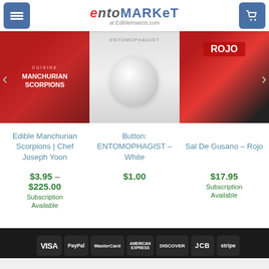EntoMarket at EdibleInsects.com
[Figure (screenshot): Product carousel showing three items: Edible Manchurian Scorpions book cover (red), Button ENTOMOPHAGIST White (grey circular button), Sal De Gusano Rojo food product]
Edible Manchurian Scorpions | Chef Joseph Yoon
$3.95 – $225.00
Subscription Available
Button: ENTOMOPHAGIST – White
$1.00
Sal De Gusano – Rojo
$17.95
Subscription Available
[Figure (logo): Payment method logos: VISA, PayPal, MasterCard, American Express, Discover, JCB, Stripe on dark background]
COPYRIGHT 2022 © ENTOSENSE, LLC  PRIVACY | TERMS | SHIPPING & RETURNS | SITEMAP | FEED | IMAGES | KICKERS CRICKETS |
- 1 +  ADD TO CART